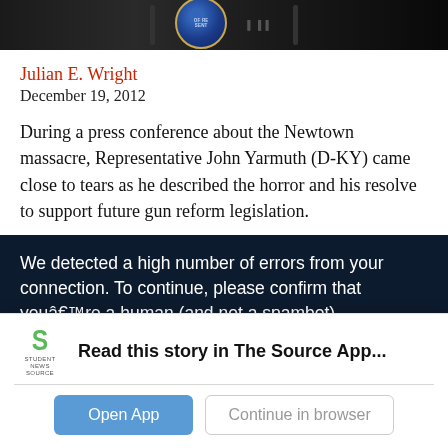[Figure (photo): Press conference photo showing a podium with a government seal (House of Representatives) in the background, dark setting.]
Julian E. Wright
December 19, 2012
During a press conference about the Newtown massacre, Representative John Yarmuth (D-KY) came close to tears as he described the horror and his resolve to support future gun reform legislation.
[Figure (screenshot): Captcha/bot-detection overlay: 'We detected a high number of errors from your connection. To continue, please confirm that youâ€™re a human (and not a spambot).']
Read this story in The Source App...
Open App
Continue in browser